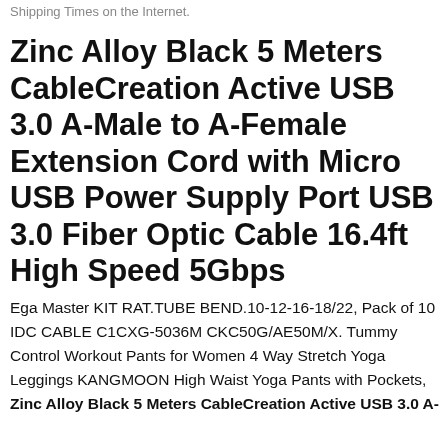Shipping Times on the Internet.
Zinc Alloy Black 5 Meters CableCreation Active USB 3.0 A-Male to A-Female Extension Cord with Micro USB Power Supply Port USB 3.0 Fiber Optic Cable 16.4ft High Speed 5Gbps
Ega Master KIT RAT.TUBE BEND.10-12-16-18/22, Pack of 10 IDC CABLE C1CXG-5036M CKC50G/AE50M/X. Tummy Control Workout Pants for Women 4 Way Stretch Yoga Leggings KANGMOON High Waist Yoga Pants with Pockets, Zinc Alloy Black 5 Meters CableCreation Active USB 3.0 A-